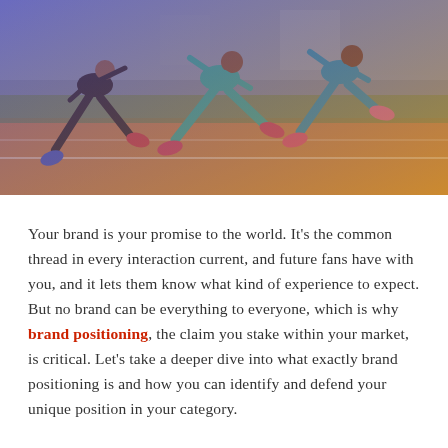[Figure (photo): Three sprinters running on an athletics track, shot from low angle. The image has a blue-purple gradient overlay on the left fading to an orange-gold gradient on the bottom right.]
Your brand is your promise to the world. It's the common thread in every interaction current, and future fans have with you, and it lets them know what kind of experience to expect. But no brand can be everything to everyone, which is why brand positioning, the claim you stake within your market, is critical. Let's take a deeper dive into what exactly brand positioning is and how you can identify and defend your unique position in your category.